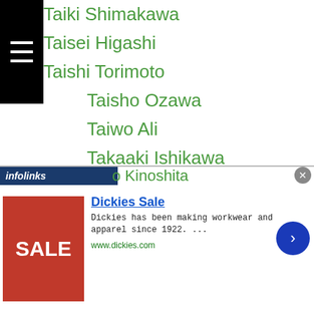Taiki Shimakawa
Taisei Higashi
Taishi Torimoto
Taisho Ozawa
Taiwo Ali
Takaaki Ishikawa
Takaaki Kanai
Takaaki Kitagawa
Takafumi Nakajima
Takafumi Yamada
Takahiko Nakajima
Takahiro Ao
Takahiro Araki
Takahiro Fujii
Takahiro Iida
Takahiro Kinoshita
[Figure (screenshot): Advertisement for Dickies Sale showing a red SALE image, title Dickies Sale, description text, and www.dickies.com URL, with infolinks bar overlay]